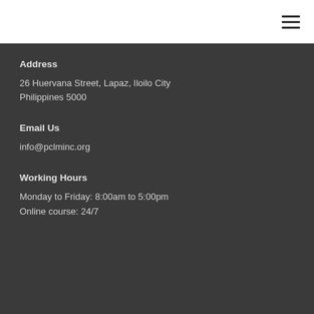≡
Address
26 Huervana Street, Lapaz, Iloilo City
Philippines 5000
Email Us
info@pclminc.org
Working Hours
Monday to Friday: 8:00am to 5:00pm
Online course: 24/7